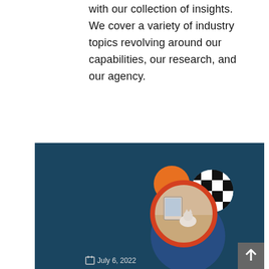with our collection of insights. We cover a variety of industry topics revolving around our capabilities, our research, and our agency.
[Figure (illustration): Dark teal card background with circular overlapping graphic elements including an orange sphere, a black and white checkered circle, a blue circle, a red-bordered circle containing a photo of a cat near a tablet, and a scroll-to-top button in the bottom right corner. A date 'July 6, 2022' is shown at the bottom left.]